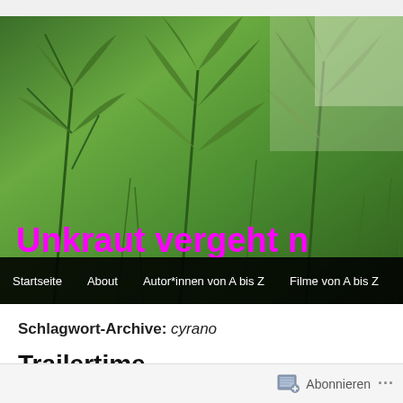[Figure (photo): Banner image of green plants/weeds with magenta/pink text overlay reading 'Unkraut vergeht n' (truncated), with dark navigation bar below containing menu items: Startseite, About, Autor*innen von A bis Z, Filme von A bis Z]
Schlagwort-Archive: cyrano
Trailertime
Erstellt am 7. November 2021 von Herba